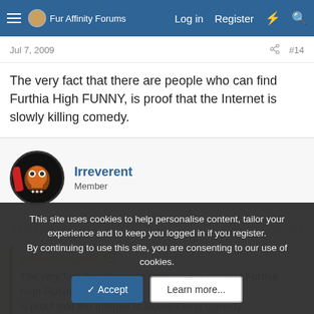Fur Affinity Forums | Log in | Register
Jul 7, 2009  #14
The very fact that there are people who can find Furthia High FUNNY, is proof that the Internet is slowly killing comedy.
Irreverent
Member
Jul 7, 2009  #15
AshleyAshes said:
The very fact that there are people who can find Furthia High FUNNY, is proof that the Internet is slowly killing comedy.
This site uses cookies to help personalise content, tailor your experience and to keep you logged in if you register.
By continuing to use this site, you are consenting to our use of cookies.
Accept  Learn more...